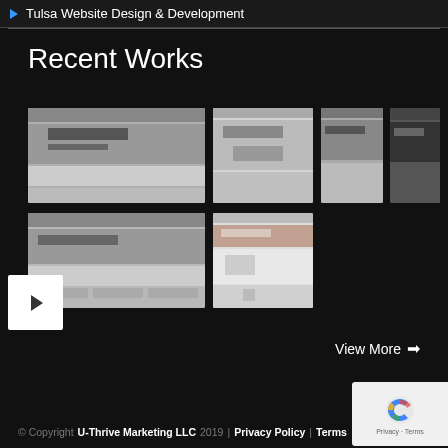Tulsa Website Design & Development
Recent Works
[Figure (screenshot): Gallery of 6 website thumbnail screenshots arranged in a 4+2 grid, with a navigation arrow button on the left side]
View More →
© Copyright U-Thrive Marketing LLC 2019 | Privacy Policy | Terms